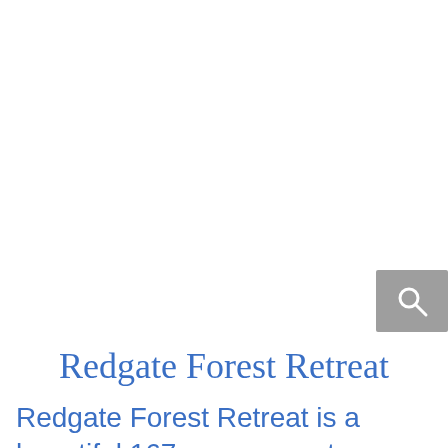[Figure (other): Gray search button with magnifying glass icon in top-right area]
Redgate Forest Retreat
Redgate Forest Retreat is a beautiful 167 acre property including 50 acres